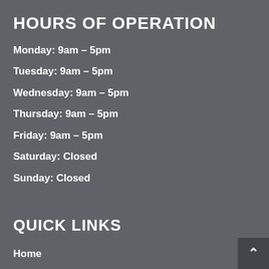HOURS OF OPERATION
Monday: 9am – 5pm
Tuesday: 9am – 5pm
Wednesday: 9am – 5pm
Thursday: 9am – 5pm
Friday: 9am – 5pm
Saturday: Closed
Sunday: Closed
QUICK LINKS
Home
About
Services
Portfolio